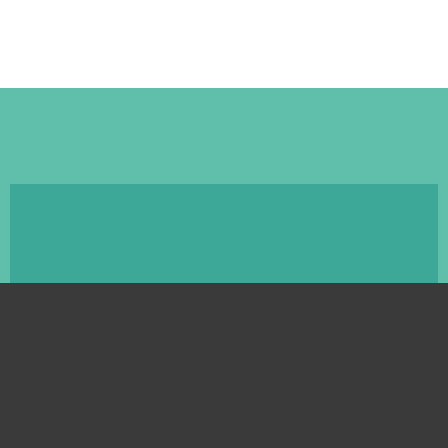[Figure (other): White area at top of page, partially visible website background]
[Figure (other): Teal/green colored rectangular area representing a website content block]
Usamos cookies en nuestro sitio web para poder ofrecer la mejor experiencia posible. Dándole al botón "Aceptar todas", da su consentimiento del uso de TODAS las cookies. Puede controlar las mismas en el apartado "Ajustes de cookies".
Ajustes de Cookies
Aceptar todas